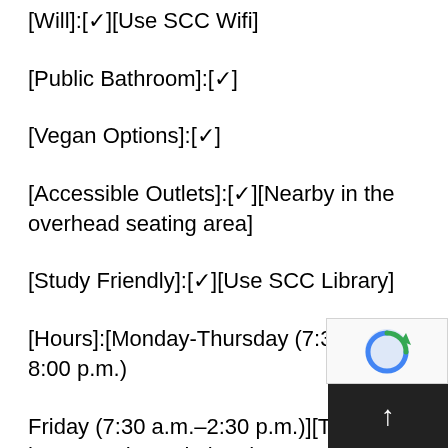[Will]:[✓][Use SCC Wifi]
[Public Bathroom]:[✓]
[Vegan Options]:[✓]
[Accessible Outlets]:[✓][Nearby in the overhead seating area]
[Study Friendly]:[✓][Use SCC Library]
[Hours]:[Monday-Thursday (7:30 a.m.–8:00 p.m.)
Friday (7:30 a.m.–2:30 p.m.)][These are hours on the website, they are inconsiste